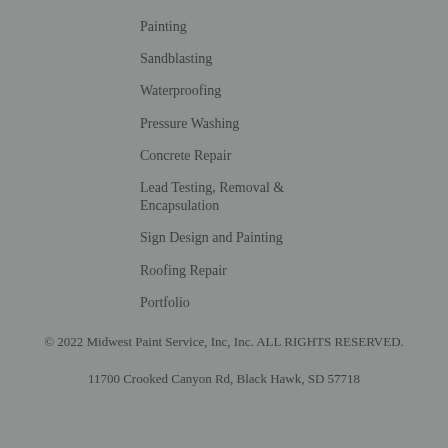Painting
Sandblasting
Waterproofing
Pressure Washing
Concrete Repair
Lead Testing, Removal & Encapsulation
Sign Design and Painting
Roofing Repair
Portfolio
© 2022 Midwest Paint Service, Inc, Inc. ALL RIGHTS RESERVED.
11700 Crooked Canyon Rd, Black Hawk, SD 57718